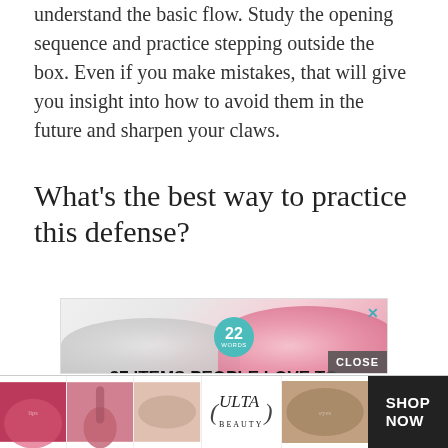understand the basic flow. Study the opening sequence and practice stepping outside the box. Even if you make mistakes, that will give you insight into how to avoid them in the future and sharpen your claws.
What’s the best way to practice this defense?
[Figure (other): Advertisement banner: '37 ITEMS PEOPLE LOVE TO PURCHASE ON AMAZON' with a teal '22 WORDS' badge, pink beauty product imagery, and a CLOSE button]
[Figure (other): Bottom advertisement banner for ULTA Beauty with makeup imagery and SHOP NOW button]